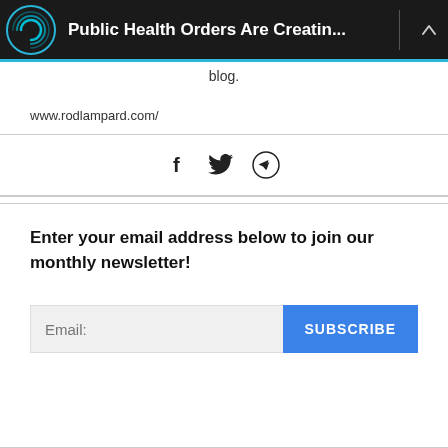Public Health Orders Are Creatin...
blog.
www.rodlampard.com/
[Figure (other): Social sharing icons: Facebook (f), Twitter (bird), Telegram (paper plane)]
Enter your email address below to join our monthly newsletter!